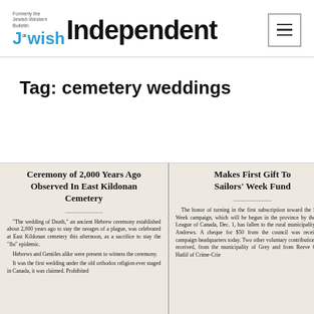Jewish Independent — Formerly the Jewish Western Bulletin
Tag: cemetery weddings
[Figure (photo): Newspaper clipping showing two articles: 'Ceremony of 2,000 Years Ago Observed In East Kildonan Cemetery' and 'Makes First Gift To Sailors' Week Fund']